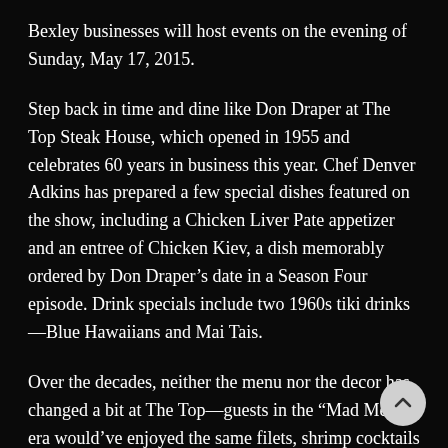Bexley businesses will host events on the evening of Sunday, May 17, 2015.
Step back in time and dine like Don Draper at The Top Steak House, which opened in 1955 and celebrates 60 years in business this year. Chef Denver Adkins has prepared a few special dishes featured on the show, including a Chicken Liver Pate appetizer and an entree of Chicken Kiev, a dish memorably ordered by Don Draper’s date in a Season Four episode. Drink specials include two 1960s tiki drinks—Blue Hawaiians and Mai Tais.
Over the decades, neither the menu nor the decor has changed a bit at The Top—guests in the “Mad Men” era would’ve enjoyed the same filets, shrimp cocktails and jumbo lobster tails you’ll find today.